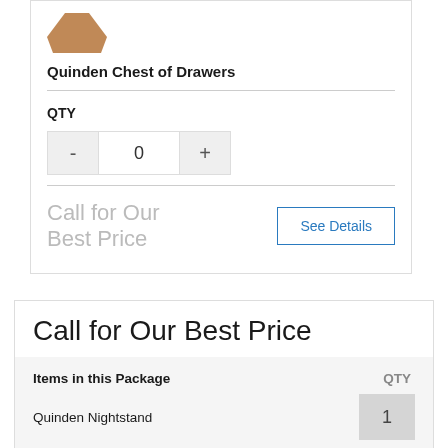[Figure (photo): Partial view of wooden chest of drawers product image (cropped at top)]
Quinden Chest of Drawers
QTY
- 0 +
Call for Our Best Price
See Details
Call for Our Best Price
Items in this Package  QTY
Quinden Nightstand  1